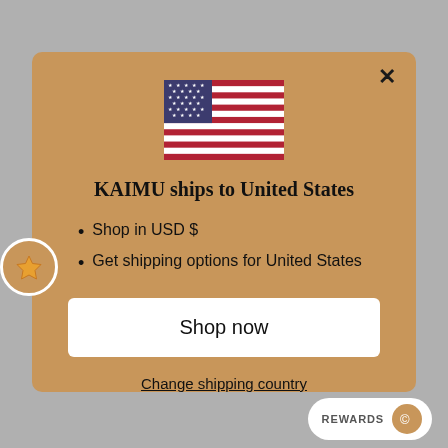[Figure (illustration): US flag SVG icon centered at top of modal]
KAIMU ships to United States
Shop in USD $
Get shipping options for United States
Shop now
Change shipping country